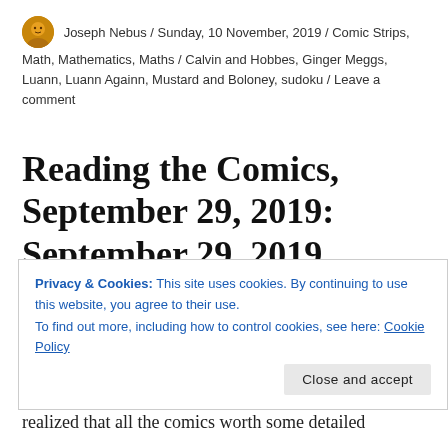Joseph Nebus / Sunday, 10 November, 2019 / Comic Strips, Math, Mathematics, Maths / Calvin and Hobbes, Ginger Meggs, Luann, Luann Againn, Mustard and Boloney, sudoku / Leave a comment
Reading the Comics, September 29, 2019: September 29, 2019 Edition
👍 0 👎 0 ℹ Rate This
Privacy & Cookies: This site uses cookies. By continuing to use this website, you agree to their use.
To find out more, including how to control cookies, see here: Cookie Policy
realized that all the comics worth some detailed